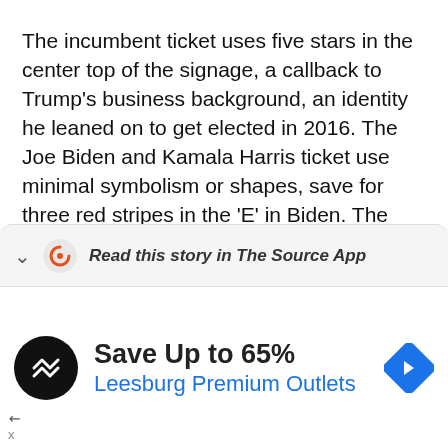The incumbent ticket uses five stars in the center top of the signage, a callback to Trump's business background, an identity he leaned on to get elected in 2016. The Joe Biden and Kamala Harris ticket use minimal symbolism or shapes, save for three red stripes in the 'E' in Biden. The stripes mimic the ones seen on the American flag. Both campaigns use bold, heavy sans serif fonts, a typeface popularized for its modernity, according to Ross Kimbarovsky, founder and CEO of Crowdspring.
Not only do yard signs for the national election carry art behind the message, but for candidates [partial]
Read this story in The Source App
Save Up to 65%
Leesburg Premium Outlets